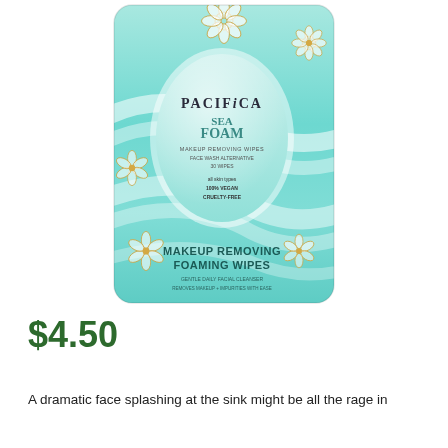[Figure (photo): Pacifica Sea Foam Makeup Removing Foaming Wipes product package. Teal/mint colored packaging with gold lotus flower designs and swirling wave patterns. Central oval label reads PACIFICA SEA FOAM with makeup removing foaming wipes text. States all skin types, 100% vegan, cruelty-free. Bottom of package reads MAKEUP REMOVING FOAMING WIPES.]
$4.50
A dramatic face splashing at the sink might be all the rage in